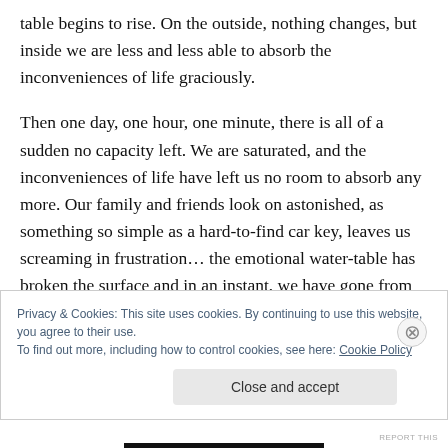table begins to rise. On the outside, nothing changes, but inside we are less and less able to absorb the inconveniences of life graciously.
Then one day, one hour, one minute, there is all of a sudden no capacity left. We are saturated, and the inconveniences of life have left us no room to absorb any more. Our family and friends look on astonished, as something so simple as a hard-to-find car key, leaves us screaming in frustration… the emotional water-table has broken the surface and in an instant, we have gone from
Privacy & Cookies: This site uses cookies. By continuing to use this website, you agree to their use.
To find out more, including how to control cookies, see here: Cookie Policy
Close and accept